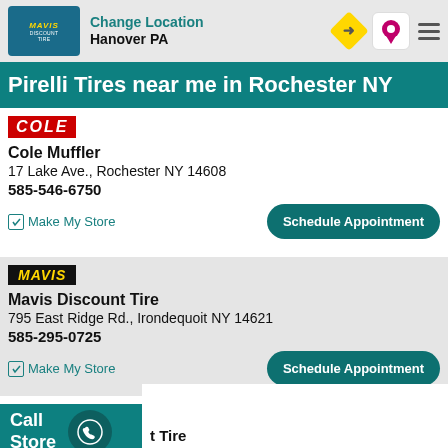Change Location
Hanover PA
Pirelli Tires near me in Rochester NY
COLE
Cole Muffler
17 Lake Ave., Rochester NY 14608
585-546-6750
Make My Store
Schedule Appointment
MAVIS
Mavis Discount Tire
795 East Ridge Rd., Irondequoit NY 14621
585-295-0725
Make My Store
Schedule Appointment
Call
Store